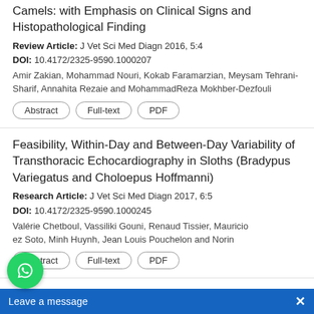Camels: with Emphasis on Clinical Signs and Histopathological Finding
Review Article: J Vet Sci Med Diagn 2016, 5:4
DOI: 10.4172/2325-9590.1000207
Amir Zakian, Mohammad Nouri, Kokab Faramarzian, Meysam Tehrani-Sharif, Annahita Rezaie and MohammadReza Mokhber-Dezfouli
Abstract | Full-text | PDF
Feasibility, Within-Day and Between-Day Variability of Transthoracic Echocardiography in Sloths (Bradypus Variegatus and Choloepus Hoffmanni)
Research Article: J Vet Sci Med Diagn 2017, 6:5
DOI: 10.4172/2325-9590.1000245
Valérie Chetboul, Vassiliki Gouni, Renaud Tissier, Mauricio ez Soto, Minh Huynh, Jean Louis Pouchelon and Norin
Abstract | Full-text | PDF